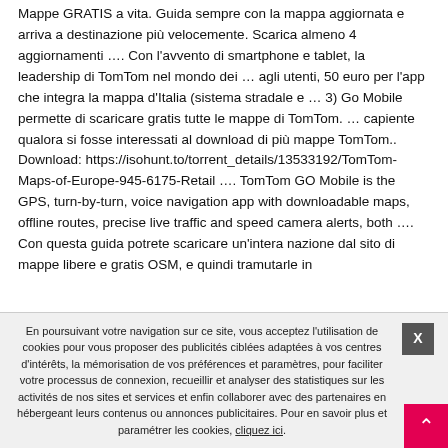Mappe GRATIS a vita. Guida sempre con la mappa aggiornata e arriva a destinazione più velocemente. Scarica almeno 4 aggiornamenti …. Con l'avvento di smartphone e tablet, la leadership di TomTom nel mondo dei … agli utenti, 50 euro per l'app che integra la mappa d'Italia (sistema stradale e … 3) Go Mobile permette di scaricare gratis tutte le mappe di TomTom. … capiente qualora si fosse interessati al download di più mappe TomTom.. Download: https://isohunt.to/torrent_details/13533192/TomTom-Maps-of-Europe-945-6175-Retail …. TomTom GO Mobile is the GPS, turn-by-turn, voice navigation app with downloadable maps, offline routes, precise live traffic and speed camera alerts, both …. Con questa guida potrete scaricare un'intera nazione dal sito di mappe libere e gratis OSM, e quindi tramutarle in
En poursuivant votre navigation sur ce site, vous acceptez l'utilisation de cookies pour vous proposer des publicités ciblées adaptées à vos centres d'intérêts, la mémorisation de vos préférences et paramètres, pour faciliter votre processus de connexion, recueillir et analyser des statistiques sur les activités de nos sites et services et enfin collaborer avec des partenaires en hébergeant leurs contenus ou annonces publicitaires. Pour en savoir plus et paramétrer les cookies, cliquez ici.